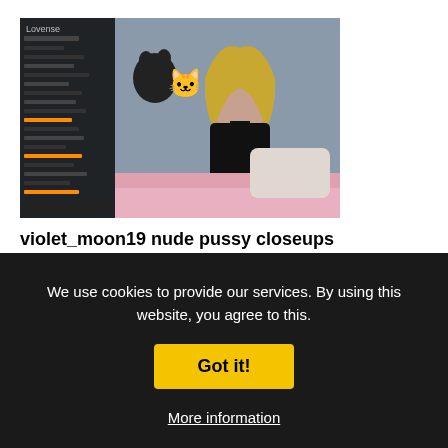[Figure (screenshot): Thumbnail image of a live cam stream showing a person in a dark room with cat wall decorations. A chat overlay is visible on the left side. Watermark reads 'Lovense' in top left corner.]
violet_moon19 nude pussy closeups on cam for live sex
👁 8K  👍 94%
We use cookies to provide our services. By using this website, you agree to this.
Got it!
More information